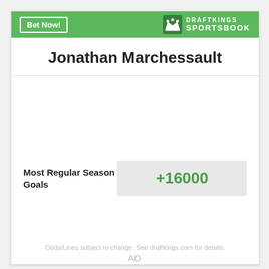[Figure (logo): DraftKings Sportsbook logo with crown icon, white text on green background. Also includes Bet Now! button.]
Jonathan Marchessault
Most Regular Season Goals
+16000
Odds/Lines subject to change. See draftkings.com for details.
AD